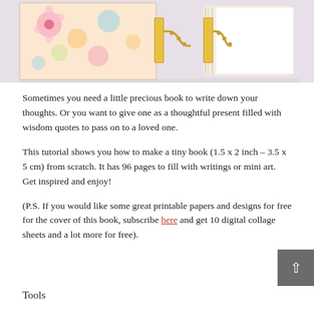[Figure (photo): Photo of two small handmade books with floral covers and gold clasps/chains on a white background. Left book shows colorful floral fabric cover; right book shows stacked white pages.]
Sometimes you need a little precious book to write down your thoughts. Or you want to give one as a thoughtful present filled with wisdom quotes to pass on to a loved one.
This tutorial shows you how to make a tiny book (1.5 x 2 inch – 3.5 x 5 cm) from scratch. It has 96 pages to fill with writings or mini art. Get inspired and enjoy!
(P.S. If you would like some great printable papers and designs for free for the cover of this book, subscribe here and get 10 digital collage sheets and a lot more for free).
Tools